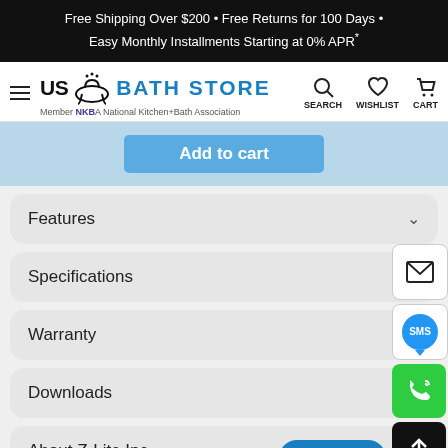Free Shipping Over $200 • Free Returns for 100 Days • Easy Monthly Installments Starting at 0% APR*
[Figure (logo): US Bath Store logo with bathtub icon and NKBA member text]
Add to cart
Features
Specifications
Warranty
Downloads
About Z-Lite Inc.